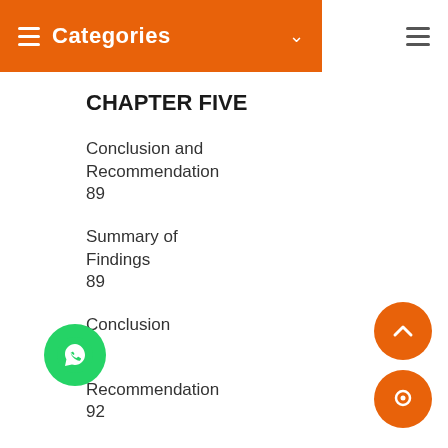Categories
CHAPTER FIVE
Conclusion and Recommendation 89
Summary of Findings 89
Conclusion 91
Recommendation 92
Bibliography 94